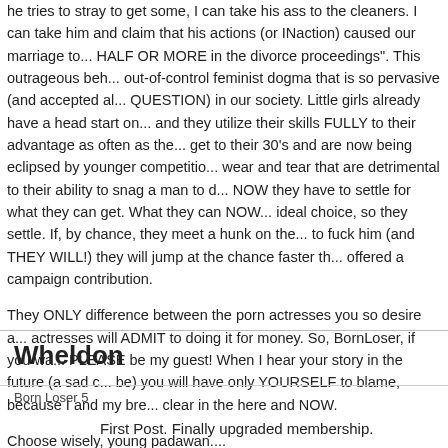he tries to stray to get some, I can take his ass to the cleaners. I can sue him and claim that his actions (or INaction) caused our marriage to... HALF OR MORE in the divorce proceedings". This outrageous beh... out-of-control feminist dogma that is so pervasive (and accepted al... QUESTION) in our society. Little girls already have a head start on... and they utilize their skills FULLY to their advantage as often as the... get to their 30's and are now being eclipsed by younger competitio... wear and tear that are detrimental to their ability to snag a man to c... NOW they have to settle for what they can get. What they can NOW... ideal choice, so they settle. If, by chance, they meet a hunk on the... to fuck him (and THEY WILL!) they will jump at the chance faster th... offered a campaign contribution.
They ONLY difference between the porn actresses you so desire a... actresses will ADMIT to doing it for money. So, BornLoser, if you wa... PLEASE be my guest! When I hear your story in the future (a sad c... be) you will have only YOURSELF to blame, because I and my bre... clear in the here and NOW.
Choose wisely, young padawan....
Wheldon
Born Loser 5
First Post. Finally upgraded membership.